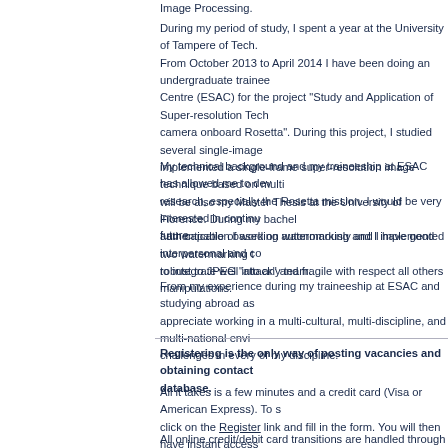Image Processing.
During my period of study, I spent a year at the University of Tampere of Tech. From October 2013 to April 2014 I have been doing an undergraduate trainee Centre (ESAC) for the project "Study and Application of Super-resolution Tech camera onboard Rosetta". During this project, I studied several single-image implemented a single-frame super-resolution image technique based on multi will be also my Master Thesis at the University of Florence. During my bachel authentication based on watermarking and I implemented two watermarking t robust to JPEG "attack" and fragile with respect all others manipulations.
My technical background and my traineeship at ESAC has allowed me to dev research, especially the Rosetta mission. I would be very interested in continu future.
I am capable of working autonomously and I have good interpersonal and co to integrate well into any team.
From my experience during my traineeship at ESAC and studying abroad as appreciate working in a multi-cultural, multi-discipline, and multi-national envi challenges in every of my discipline.
Registering is the only way of posting vacancies and obtaining contact database.
All it takes is a few minutes and a credit card (Visa or American Express). To s click on the Register link and fill in the form. You will then have instant access payment where you will be able to complete the transaction in either US Doll
All online credit/debit card transitions are handled through our secure third pa WorldPay. Worldpay are part of The Royal Bank of Scotland Group, the 5th b WorldPay payment solutions are trusted by thousands of businesses, big and
Pricing starts at €450 (approx £400 or US$500 - use the convert tool for an ex unlimited job postings and unlimited CV database access (for one user), with you have more permanent recruiting needs.